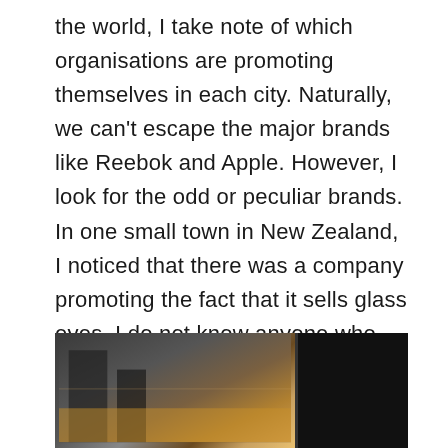the world, I take note of which organisations are promoting themselves in each city. Naturally, we can't escape the major brands like Reebok and Apple. However, I look for the odd or peculiar brands. In one small town in New Zealand, I noticed that there was a company promoting the fact that it sells glass eyes. I do not know anyone who has a glass eye. It's not a common operation. So why would a small town have the need for glass eyes? So much so, that serious medical advertisements are placed in local newspapers?
[Figure (photo): A strip of three photographs side by side. Left photo shows an urban scene with structures and warm tones. Middle photo shows a red sign or billboard. Right photo is mostly dark/black.]